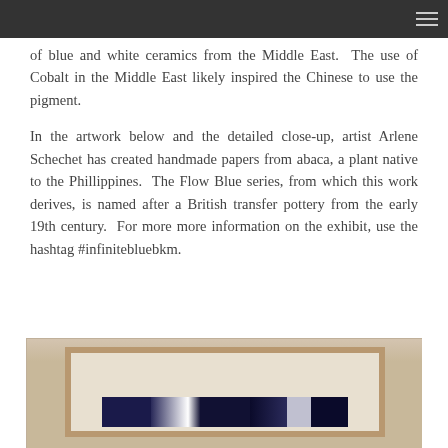of blue and white ceramics from the Middle East.  The use of Cobalt in the Middle East likely inspired the Chinese to use the pigment.
In the artwork below and the detailed close-up, artist Arlene Schechet has created handmade papers from abaca, a plant native to the Phillippines.  The Flow Blue series, from which this work derives, is named after a British transfer pottery from the early 19th century.  For more more information on the exhibit, use the hashtag #infinitebluebkm.
[Figure (photo): Framed artwork showing Flow Blue series piece by Arlene Schechet, displayed in a light wood frame against a beige wall. The artwork contains dark blue abstract forms on lighter background.]